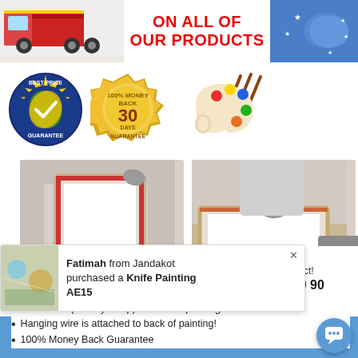[Figure (screenshot): Red truck delivery image on left, ON ALL OF OUR PRODUCTS text in red in center, Australian flag on right]
[Figure (illustration): Best Price Guarantee badge (blue circular), 30 Days 100% Money Back Guarantee badge (gold), and artist palette with brushes]
[Figure (photo): Two photos showing canvas framing and stretching process — person holding canvas frame, person working on canvas on table]
All Paintings delivered Framed & Ready to Hang!
We stretch (Gallery Wrap) all canvas paintings!
Hanging wire is attached to back of painting!
100% Money Back Guarantee
[Figure (screenshot): Notification popup: thumbnail image of painting, text 'Fatimah from Jandakot purchased a Knife Painting AE15', close button X, and partial contact number 1300 90...]
Get 10% off!